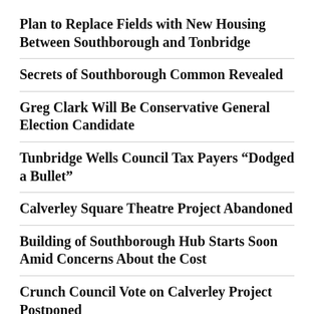Plan to Replace Fields with New Housing Between Southborough and Tonbridge
Secrets of Southborough Common Revealed
Greg Clark Will Be Conservative General Election Candidate
Tunbridge Wells Council Tax Payers “Dodged a Bullet”
Calverley Square Theatre Project Abandoned
Building of Southborough Hub Starts Soon Amid Concerns About the Cost
Crunch Council Vote on Calverley Project Postponed